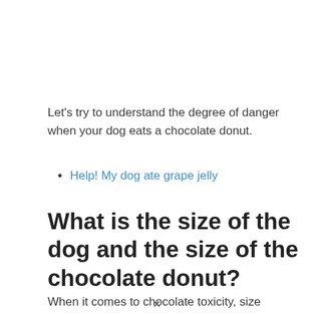Let's try to understand the degree of danger when your dog eats a chocolate donut.
Help! My dog ate grape jelly
What is the size of the dog and the size of the chocolate donut?
When it comes to chocolate toxicity, size